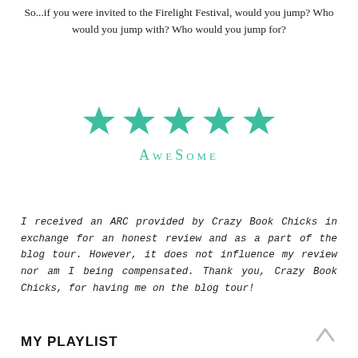So...if you were invited to the Firelight Festival, would you jump? Who would you jump with? Who would you jump for?
[Figure (illustration): Five teal/green filled stars arranged in a row with the word AWESOME in teal small-caps lettering below them — a 5-star rating graphic.]
I received an ARC provided by Crazy Book Chicks in exchange for an honest review and as a part of the blog tour. However, it does not influence my review nor am I being compensated. Thank you, Crazy Book Chicks, for having me on the blog tour!
MY PLAYLIST